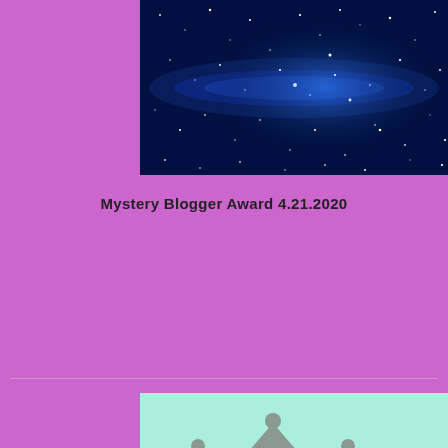[Figure (photo): Night sky / galaxy image with stars and blue nebula on dark background]
Mystery Blogger Award 4.21.2020
[Figure (illustration): Fix Her Crown Award badge with mint green background, grey crown icon, and cursive text reading 'Fix Her Crown Award']